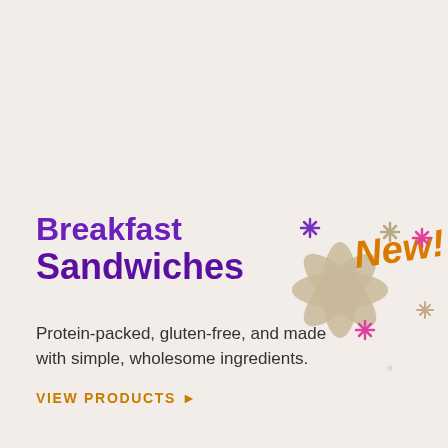Breakfast Sandwiches
[Figure (illustration): Decorative 'New!' text in orange with colorful asterisk/snowflake shapes in purple, pink, and tan]
Protein-packed, gluten-free, and made with simple, wholesome ingredients.
VIEW PRODUCTS ▶